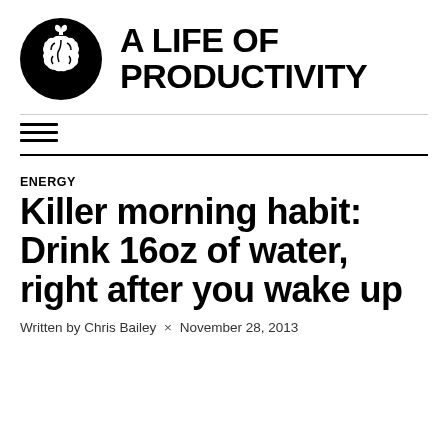[Figure (logo): A Life of Productivity logo: black circle with white brain icon and small plant/sprout on top, next to bold uppercase text 'A LIFE OF PRODUCTIVITY']
[Figure (other): Hamburger menu icon with three horizontal lines]
ENERGY
Killer morning habit: Drink 16oz of water, right after you wake up
Written by Chris Bailey × November 28, 2013